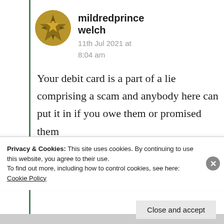[Figure (illustration): Gold/olive colored compass-rose or star-shaped avatar icon for user mildredprince welch]
mildredprince welch
11th Jul 2021 at 8:04 am
Your debit card is a part of a lie comprising a scam and anybody here can put it in if you owe them or promised them
Privacy & Cookies: This site uses cookies. By continuing to use this website, you agree to their use.
To find out more, including how to control cookies, see here: Cookie Policy
Close and accept